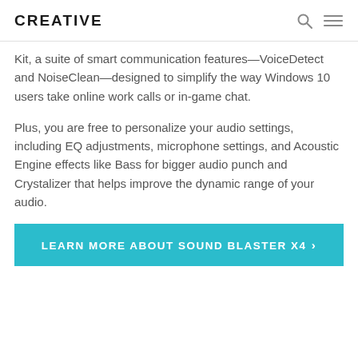CREATIVE
Kit, a suite of smart communication features—VoiceDetect and NoiseClean—designed to simplify the way Windows 10 users take online work calls or in-game chat.
Plus, you are free to personalize your audio settings, including EQ adjustments, microphone settings, and Acoustic Engine effects like Bass for bigger audio punch and Crystalizer that helps improve the dynamic range of your audio.
LEARN MORE ABOUT SOUND BLASTER X4 >